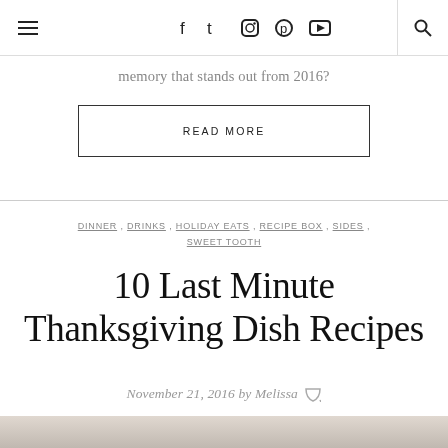☰  f  t  ⬛  ⬛  ▶  🔍
memory that stands out from 2016?
READ MORE
DINNER , DRINKS , HOLIDAY EATS , RECIPE BOX , SIDES , SWEET TOOTH
10 Last Minute Thanksgiving Dish Recipes
November 21, 2016 by Melissa